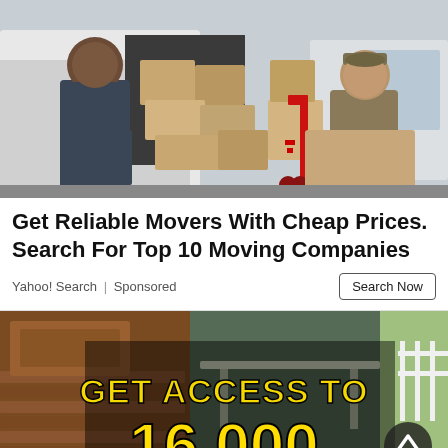[Figure (photo): Two movers in uniform standing by a van loaded with cardboard boxes and a red hand truck, smiling at the camera.]
Get Reliable Movers With Cheap Prices. Search For Top 10 Moving Companies
Yahoo! Search | Sponsored
[Figure (photo): Advertisement banner showing wooden flooring/furniture on left and outdoor furniture on right with bold yellow text 'GET ACCESS TO' and large yellow text '16,000' on a dark background. A circular scroll-up button appears on the right.]